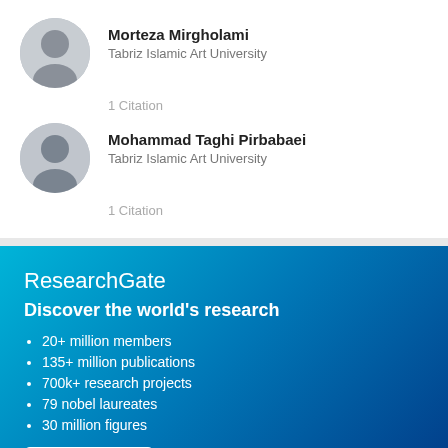Morteza Mirgholami
Tabriz Islamic Art University
1 Citation
Mohammad Taghi Pirbabaei
Tabriz Islamic Art University
1 Citation
ResearchGate
Discover the world's research
20+ million members
135+ million publications
700k+ research projects
79 nobel laureates
30 million figures
Join for free